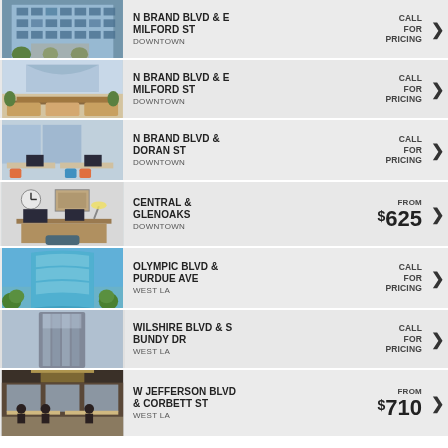N BRAND BLVD & E MILFORD ST, DOWNTOWN, CALL FOR PRICING
N BRAND BLVD & E MILFORD ST, DOWNTOWN, CALL FOR PRICING
N BRAND BLVD & DORAN ST, DOWNTOWN, CALL FOR PRICING
CENTRAL & GLENOAKS, DOWNTOWN, FROM $625
OLYMPIC BLVD & PURDUE AVE, WEST LA, CALL FOR PRICING
WILSHIRE BLVD & S BUNDY DR, WEST LA, CALL FOR PRICING
W JEFFERSON BLVD & CORBETT ST, WEST LA, FROM $710